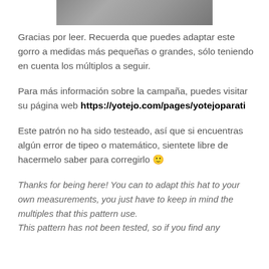[Figure (photo): Partial photo of knitted hat, cropped at top of page]
Gracias por leer. Recuerda que puedes adaptar este gorro a medidas más pequeñas o grandes, sólo teniendo en cuenta los múltiplos a seguir.
Para más información sobre la campaña, puedes visitar su página web https://yotejo.com/pages/yotejoparati
Este patrón no ha sido testeado, así que si encuentras algún error de tipeo o matemático, sientete libre de hacermelo saber para corregirlo 🙂
Thanks for being here! You can to adapt this hat to your own measurements, you just have to keep in mind the multiples that this pattern use. This pattern has not been tested, so if you find any